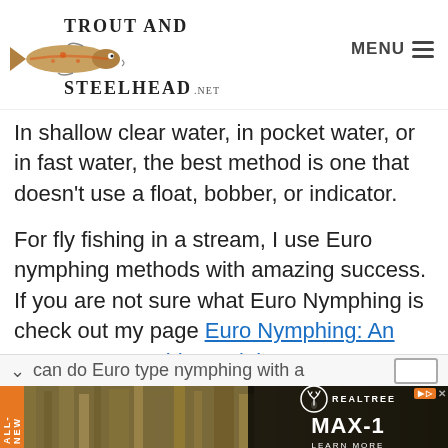TROUT AND STEELHEAD .NET — MENU
In shallow clear water, in pocket water, or in fast water, the best method is one that doesn't use a float, bobber, or indicator.
For fly fishing in a stream, I use Euro nymphing methods with amazing success. If you are not sure what Euro Nymphing is check out my page Euro Nymphing: An Expert Euro Guide Explains.
can do Euro type nymphing with a
[Figure (screenshot): Advertisement banner for Realtree MAX-1 with camouflage grass background. Includes ALL-NEW orange tab on left, Realtree logo and MAX-1 text on right, with LEARN MORE button. Dismiss/ad indicator icons in top right.]